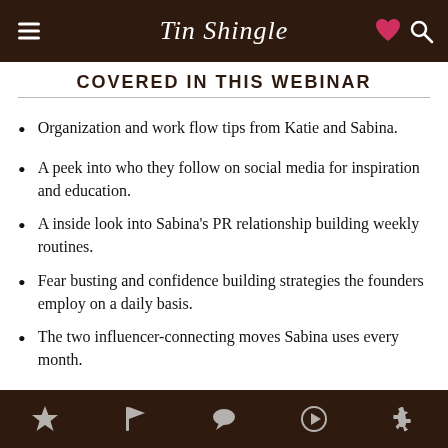Tin Shingle
COVERED IN THIS WEBINAR
Organization and work flow tips from Katie and Sabina.
A peek into who they follow on social media for inspiration and education.
A inside look into Sabina's PR relationship building weekly routines.
Fear busting and confidence building strategies the founders employ on a daily basis.
The two influencer-connecting moves Sabina uses every month.